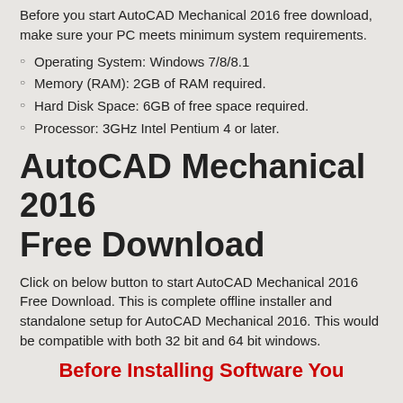Before you start AutoCAD Mechanical 2016 free download, make sure your PC meets minimum system requirements.
Operating System: Windows 7/8/8.1
Memory (RAM): 2GB of RAM required.
Hard Disk Space: 6GB of free space required.
Processor: 3GHz Intel Pentium 4 or later.
AutoCAD Mechanical 2016 Free Download
Click on below button to start AutoCAD Mechanical 2016 Free Download. This is complete offline installer and standalone setup for AutoCAD Mechanical 2016. This would be compatible with both 32 bit and 64 bit windows.
Before Installing Software You